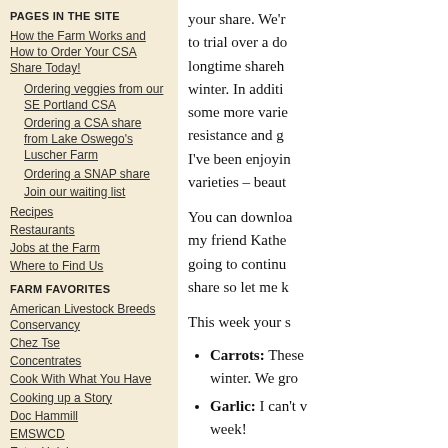PAGES IN THE SITE
How the Farm Works and How to Order Your CSA Share Today!
Ordering veggies from our SE Portland CSA
Ordering a CSA share from Lake Oswego's Luscher Farm
Ordering a SNAP share
Join our waiting list
Recipes
Restaurants
Jobs at the Farm
Where to Find Us
FARM FAVORITES
American Livestock Breeds Conservancy
Chez Tse
Concentrates
Cook With What You Have
Cooking up a Story
Doc Hammill
EMSWCD
Extra Helpings
FOODBlog
Friends of Family Farmers
your share. We're to trial over a do longtime shareh winter. In additi some more varie resistance and g I've been enjoyin varieties – beaut
You can downloa my friend Kathe going to continu share so let me k
This week your s
Carrots: These winter. We gro
Garlic: I can't v week!
Kale: All differ we're growing
Napa Cabbage are super swee